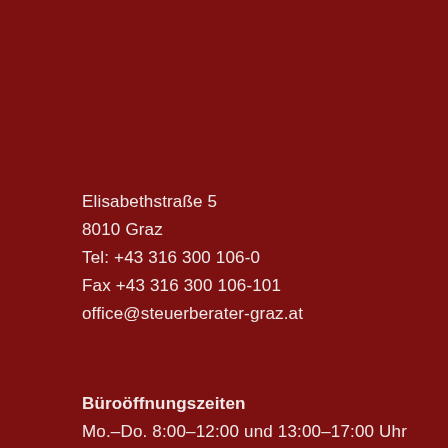Elisabethstraße 5
8010 Graz
Tel: +43 316 300 106-0
Fax +43 316 300 106-101
office@steuerberater-graz.at
Büroöffnungszeiten
Mo.–Do. 8:00–12:00 und 13:00–17:00 Uhr